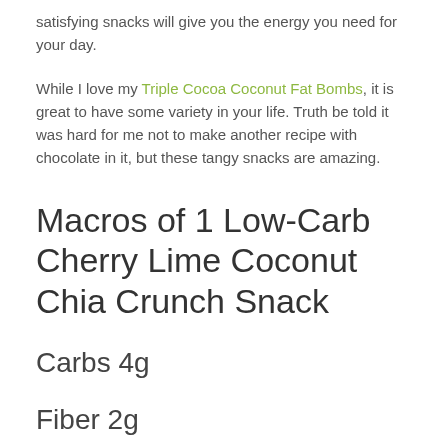satisfying snacks will give you the energy you need for your day.
While I love my Triple Cocoa Coconut Fat Bombs, it is great to have some variety in your life. Truth be told it was hard for me not to make another recipe with chocolate in it, but these tangy snacks are amazing.
Macros of 1 Low-Carb Cherry Lime Coconut Chia Crunch Snack
Carbs 4g
Fiber 2g
Net Carbs 2g